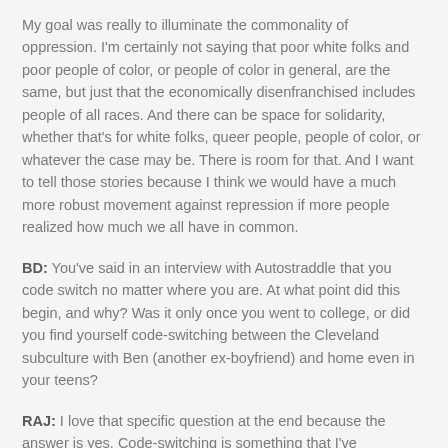My goal was really to illuminate the commonality of oppression. I'm certainly not saying that poor white folks and poor people of color, or people of color in general, are the same, but just that the economically disenfranchised includes people of all races. And there can be space for solidarity, whether that's for white folks, queer people, people of color, or whatever the case may be. There is room for that. And I want to tell those stories because I think we would have a much more robust movement against repression if more people realized how much we all have in common.
BD: You've said in an interview with Autostraddle that you code switch no matter where you are. At what point did this begin, and why? Was it only once you went to college, or did you find yourself code-switching between the Cleveland subculture with Ben (another ex-boyfriend) and home even in your teens?
RAJ: I love that specific question at the end because the answer is yes. Code-switching is something that I've